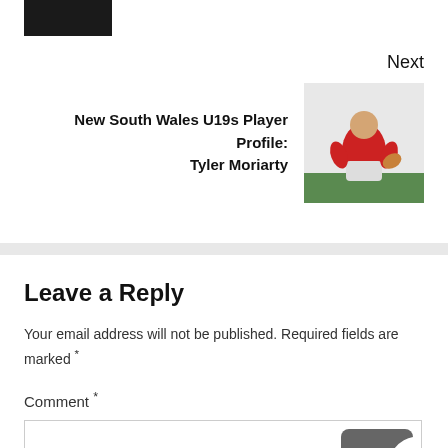[Figure (photo): Small thumbnail of a person holding a rugby ball, dark background]
Next
[Figure (photo): Rugby player in red jersey running with ball on grass field]
New South Wales U19s Player Profile: Tyler Moriarty
Leave a Reply
Your email address will not be published. Required fields are marked *
Comment *